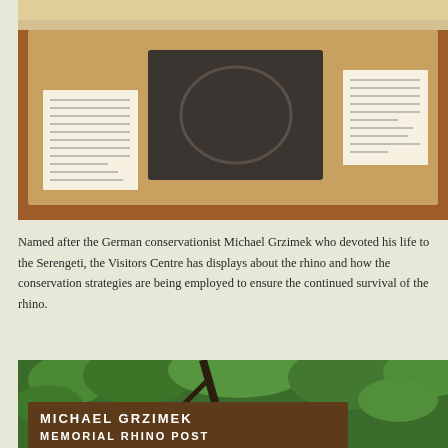[Figure (photo): Museum display case with a large dark stone or fossil slab mounted in a wooden frame, with small descriptive text cards on either side, displayed on a wooden surface]
Named after the German conservationist Michael Grzimek who devoted his life to the Serengeti, the Visitors Centre has displays about the rhino and how the conservation strategies are being employed to ensure the continued survival of the rhino.
[Figure (photo): Wooden sign reading MICHAEL GRZIMEK MEMORIAL RHINO POST surrounded by lush green foliage and trees]